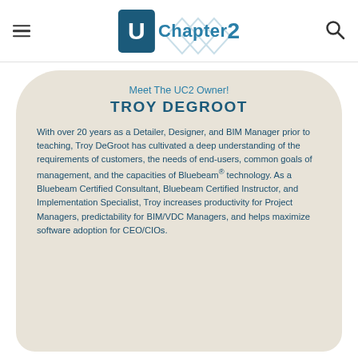UChapter2 — site header with navigation
Meet The UC2 Owner!
TROY DEGROOT
With over 20 years as a Detailer, Designer, and BIM Manager prior to teaching, Troy DeGroot has cultivated a deep understanding of the requirements of customers, the needs of end-users, common goals of management, and the capacities of Bluebeam® technology. As a Bluebeam Certified Consultant, Bluebeam Certified Instructor, and Implementation Specialist, Troy increases productivity for Project Managers, predictability for BIM/VDC Managers, and helps maximize software adoption for CEO/CIOs.